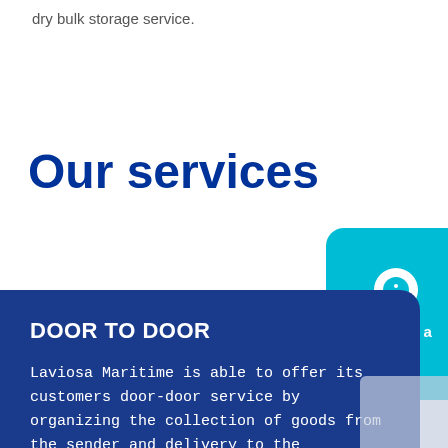dry bulk storage service.
Our services
[Figure (infographic): Teal rounded rectangle button with white circle info icon and text 'Request a quote']
DOOR TO DOOR
Laviosa Maritime is able to offer its customers door-door service by organizing the collection of goods from the sender and delivery to the recipient, combining, where necessary, the various types of transport (road / sea / air) with customized solutions.